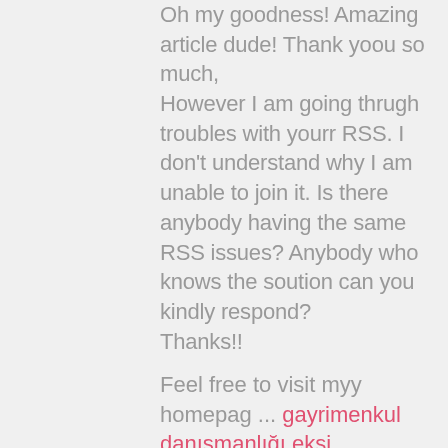Oh my goodness! Amazing article dude! Thank yoou so much, However I am going thrugh troubles with yourr RSS. I don't understand why I am unable to join it. Is there anybody having the same RSS issues? Anybody who knows the soution can you kindly respond? Thanks!!
Feel free to visit myy homepag ... gayrimenkul danışmanlığı ekşi